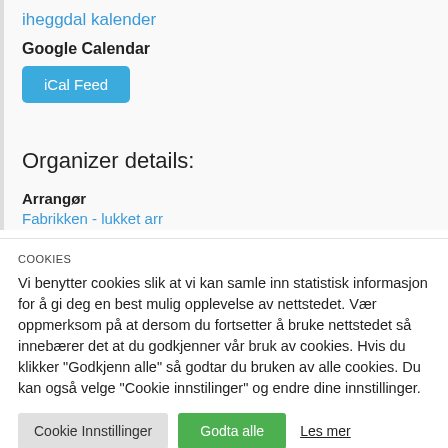iheggdal kalender
Google Calendar
iCal Feed
Organizer details:
Arrangør
Fabrikken - lukket arr
COOKIES
Vi benytter cookies slik at vi kan samle inn statistisk informasjon for å gi deg en best mulig opplevelse av nettstedet. Vær oppmerksom på at dersom du fortsetter å bruke nettstedet så innebærer det at du godkjenner vår bruk av cookies. Hvis du klikker "Godkjenn alle" så godtar du bruken av alle cookies. Du kan også velge "Cookie innstilinger" og endre dine innstillinger.
Cookie Innstillinger
Godta alle
Les mer